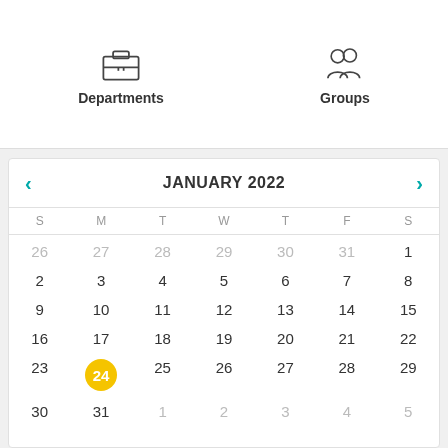[Figure (screenshot): Mobile app interface showing Departments and Groups navigation icons at the top, and a January 2022 calendar below with the 24th highlighted in yellow/gold.]
Departments
Groups
JANUARY 2022
| S | M | T | W | T | F | S |
| --- | --- | --- | --- | --- | --- | --- |
| 26 | 27 | 28 | 29 | 30 | 31 | 1 |
| 2 | 3 | 4 | 5 | 6 | 7 | 8 |
| 9 | 10 | 11 | 12 | 13 | 14 | 15 |
| 16 | 17 | 18 | 19 | 20 | 21 | 22 |
| 23 | 24 | 25 | 26 | 27 | 28 | 29 |
| 30 | 31 | 1 | 2 | 3 | 4 | 5 |